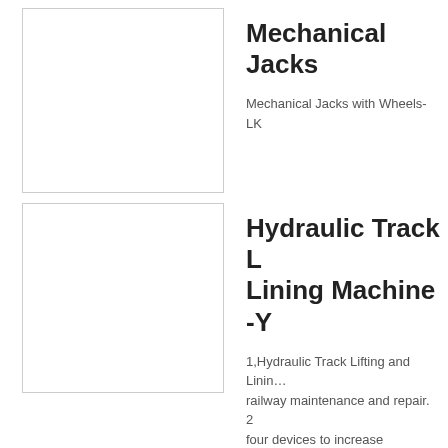[Figure (photo): Product image placeholder for Mechanical Jacks with Wheels]
Mechanical Jacks
Mechanical Jacks with Wheels-LK
[Figure (photo): Product image placeholder for Hydraulic Track Lifting and Lining Machine]
Hydraulic Track Lifting and Lining Machine -Y
1,Hydraulic Track Lifting and Lining railway maintenance and repair. 2 four devices to increase allocation
...More
[Figure (photo): Product image placeholder for Folding Hydraulic]
Folding Hydraulic